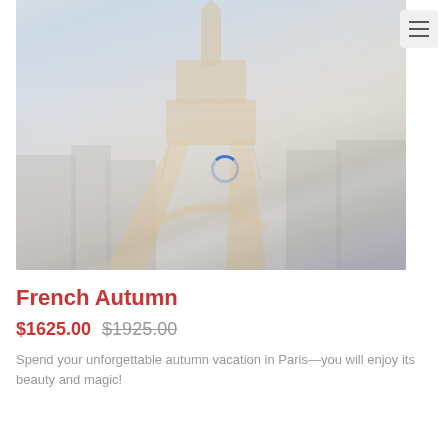[Figure (photo): Eiffel Tower at dusk/night with warm lights, city of Paris in the background, faded/loading state with a blue spinner overlay]
French Autumn
$1625.00 $1925.00
Spend your unforgettable autumn vacation in Paris—you will enjoy its beauty and magic!